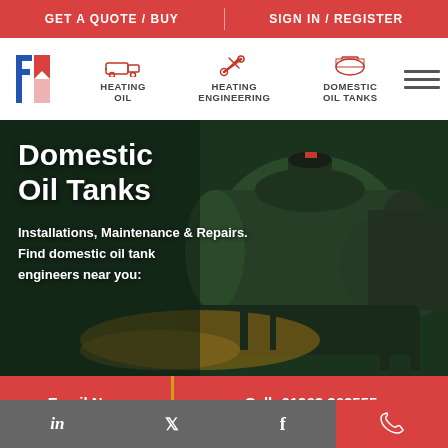GET A QUOTE / BUY | SIGN IN / REGISTER
[Figure (logo): FF company logo in red and blue, stylized double-F letters]
HEATING OIL
HEATING ENGINEERING
DOMESTIC OIL TANKS
[Figure (photo): Dark green domestic oil tanks outdoors, with yellow oil visible in foreground]
Domestic Oil Tanks
Installations, Maintenance & Repairs. Find domestic oil tank engineers near you:
Email Now
Call: 01963 363555
in  Twitter  f  Phone